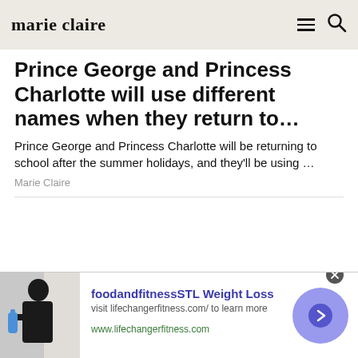marie claire
Prince George and Princess Charlotte will use different names when they return to…
Prince George and Princess Charlotte will be returning to school after the summer holidays, and they'll be using …
Marie Claire
[Figure (infographic): Advertisement banner for foodandfitnessSTL Weight Loss showing a person holding a water bottle, with text 'foodandfitnessSTL Weight Loss', 'visit lifechangerfitness.com/ to learn more', 'www.lifechangerfitness.com', and a purple arrow button]